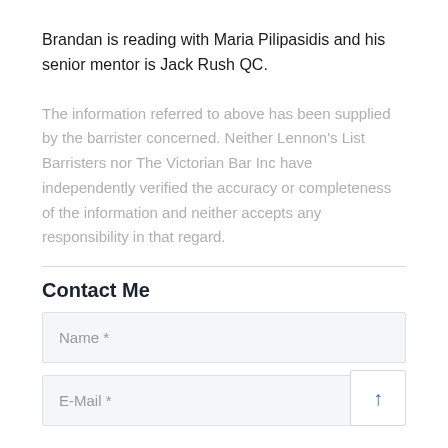Brandan is reading with Maria Pilipasidis and his senior mentor is Jack Rush QC.
The information referred to above has been supplied by the barrister concerned. Neither Lennon's List Barristers nor The Victorian Bar Inc have independently verified the accuracy or completeness of the information and neither accepts any responsibility in that regard.
Contact Me
Name *
E-Mail *